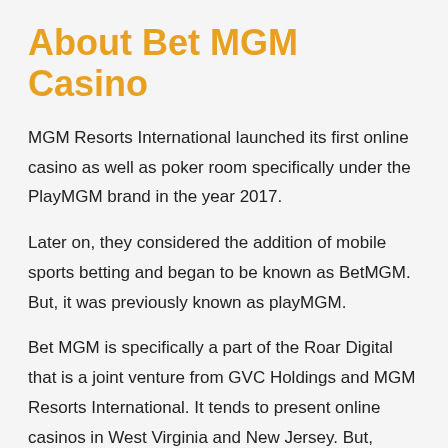About Bet MGM Casino
MGM Resorts International launched its first online casino as well as poker room specifically under the PlayMGM brand in the year 2017.
Later on, they considered the addition of mobile sports betting and began to be known as BetMGM. But, it was previously known as playMGM.
Bet MGM is specifically a part of the Roar Digital that is a joint venture from GVC Holdings and MGM Resorts International. It tends to present online casinos in West Virginia and New Jersey. But, Michigan, as well as